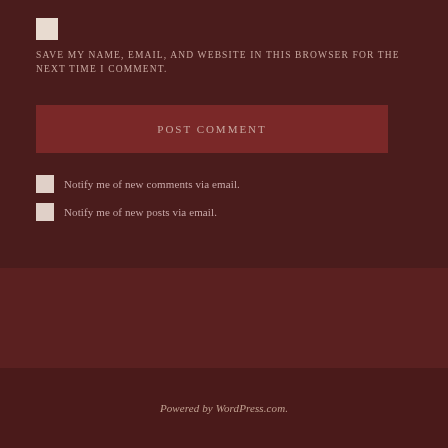SAVE MY NAME, EMAIL, AND WEBSITE IN THIS BROWSER FOR THE NEXT TIME I COMMENT.
POST COMMENT
Notify me of new comments via email.
Notify me of new posts via email.
Powered by WordPress.com.